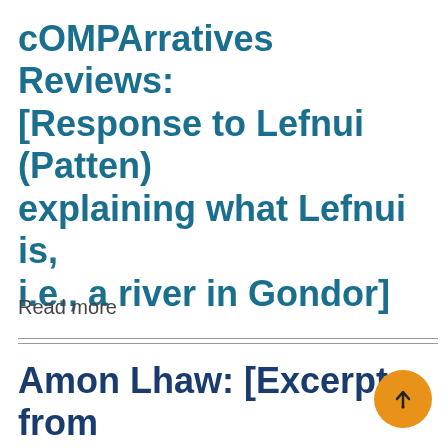cOMPArratives Reviews: [Response to Lefnui (Patten) explaining what Lefnui is, i.e., a river in Gondor]
Read more
Amon Lhaw: [Excerpts from letter sent to Shaw, discusses